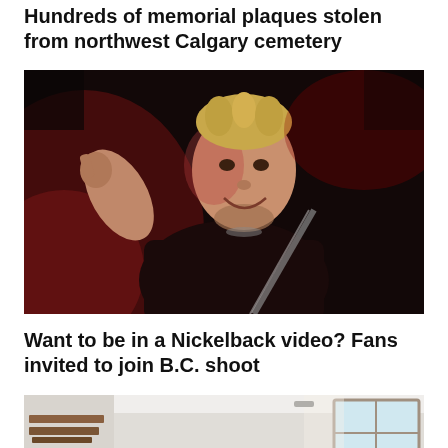Hundreds of memorial plaques stolen from northwest Calgary cemetery
[Figure (photo): Man on stage pointing and smiling, holding a guitar, lit with red stage lighting against a dark background — likely a rock concert performer]
Want to be in a Nickelback video? Fans invited to join B.C. shoot
[Figure (photo): Interior room scene — partial view of a room with white walls, a window, and some items on the floor]